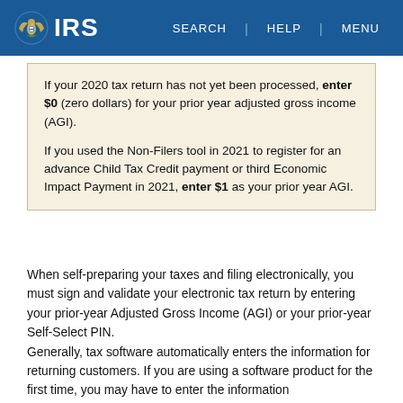IRS | SEARCH | HELP | MENU
If your 2020 tax return has not yet been processed, enter $0 (zero dollars) for your prior year adjusted gross income (AGI).
If you used the Non-Filers tool in 2021 to register for an advance Child Tax Credit payment or third Economic Impact Payment in 2021, enter $1 as your prior year AGI.
When self-preparing your taxes and filing electronically, you must sign and validate your electronic tax return by entering your prior-year Adjusted Gross Income (AGI) or your prior-year Self-Select PIN.
Generally, tax software automatically enters the information for returning customers. If you are using a software product for the first time, you may have to enter the information